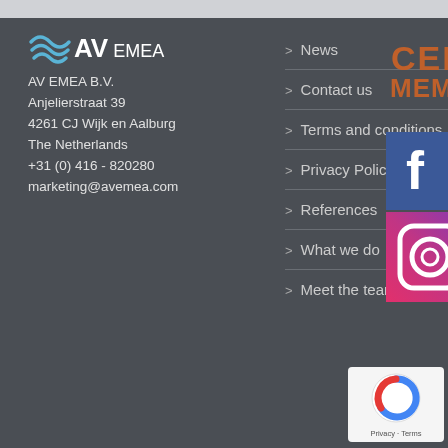[Figure (logo): AV EMEA logo with wave lines]
AV EMEA B.V.
Anjelierstraat 39
4261 CJ Wijk en Aalburg
The Netherlands
+31 (0) 416 - 820280
marketing@avemea.com
> News
> Contact us
> Terms and conditions
> Privacy Policy
> References
> What we do
> Meet the team
[Figure (logo): CEDIA Member logo]
[Figure (logo): Facebook and LinkedIn social media icons]
[Figure (logo): Instagram social media icon]
[Figure (logo): Google reCAPTCHA badge with Privacy and Terms links]